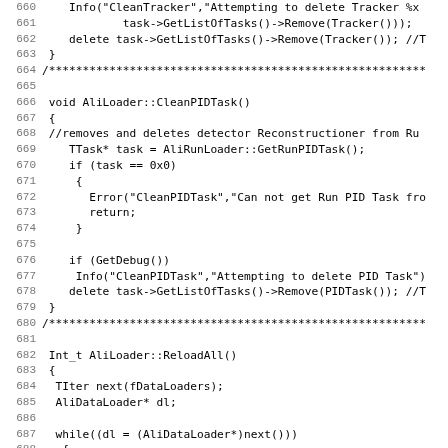[Figure (screenshot): Source code listing in C++ showing AliLoader class methods CleanPIDTask() and ReloadAll(), with line numbers 660-691. Monospace font on white background.]